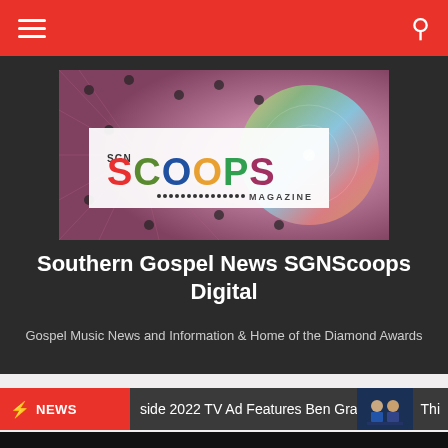Navigation bar with hamburger menu and search icon
[Figure (logo): SGN Scoops Magazine logo on colorful abstract background with circuit patterns and rainbow disc design]
Southern Gospel News SGNScoops Digital
Gospel Music News and Information & Home of the Diamond Awards
NEWS  side 2022 TV Ad Features Ben Graham  Thi